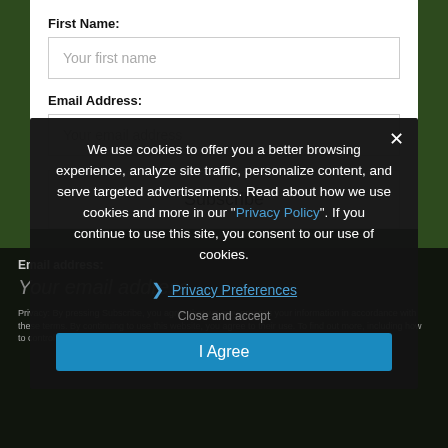First Name:
Your first name
Email Address:
Your email address
Subscribe
Email address:
Your email address
Privacy: By pressing Subscribe, you agree that we may process your information in accordance with these terms. By continuing to use this website, you agree to their use. To find out more, including how to control cookies, see here: Cookie Policy
We use cookies to offer you a better browsing experience, analyze site traffic, personalize content, and serve targeted advertisements. Read about how we use cookies and more in our "Privacy Policy". If you continue to use this site, you consent to our use of cookies.
Privacy Preferences
Close and accept
I Agree